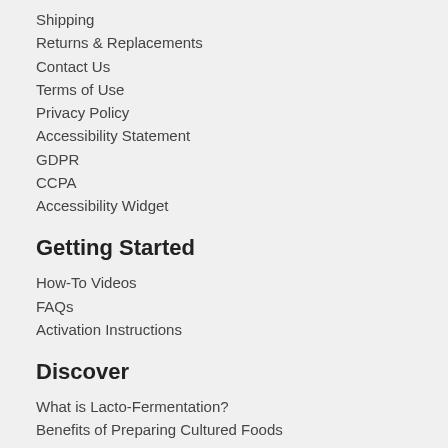Shipping
Returns & Replacements
Contact Us
Terms of Use
Privacy Policy
Accessibility Statement
GDPR
CCPA
Accessibility Widget
Getting Started
How-To Videos
FAQs
Activation Instructions
Discover
What is Lacto-Fermentation?
Benefits of Preparing Cultured Foods
3 Easiest Cultures to Get You Started
5 Ways to Eat More Cultured Foods